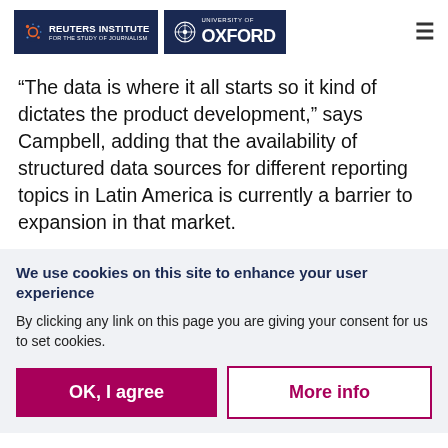Reuters Institute for the Study of Journalism | University of Oxford
“The data is where it all starts so it kind of dictates the product development,” says Campbell, adding that the availability of structured data sources for different reporting topics in Latin America is currently a barrier to expansion in that market.
We use cookies on this site to enhance your user experience
By clicking any link on this page you are giving your consent for us to set cookies.
OK, I agree | More info